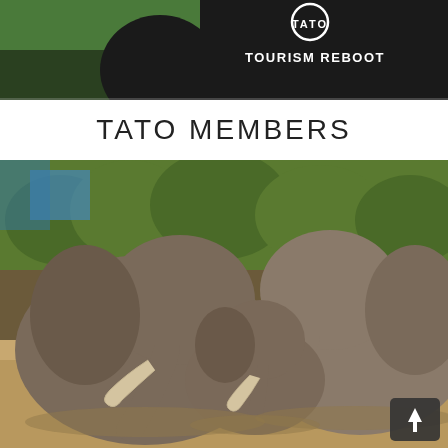[Figure (photo): Top banner image showing a TATO Tourism Reboot sign/logo with partial elephant or wildlife scene on the left side. The sign has white text reading 'TOURISM REBOOT' on a dark background.]
TATO MEMBERS
[Figure (photo): A wildlife safari photograph showing a group of African elephants, including two large adults and a baby elephant, standing together in a savanna landscape with green trees and dry grass in the background. A small scroll-to-top button with an upward arrow is overlaid in the bottom-right corner.]